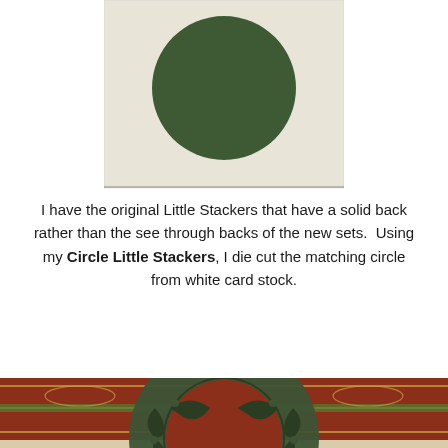[Figure (photo): A dark green solid circle on a light cream/white card stock background, photographed from above.]
I have the original Little Stackers that have a solid back rather than the see through backs of the new sets.  Using my Circle Little Stackers, I die cut the matching circle from white card stock.
[Figure (photo): A close-up photo of a decorative dark green die-cut circle overlay (with ornate scroll/filigree cutouts) placed over decorative patterned paper with red and gold stripes and swirl motifs. A white circle is visible beneath the green die-cut.]